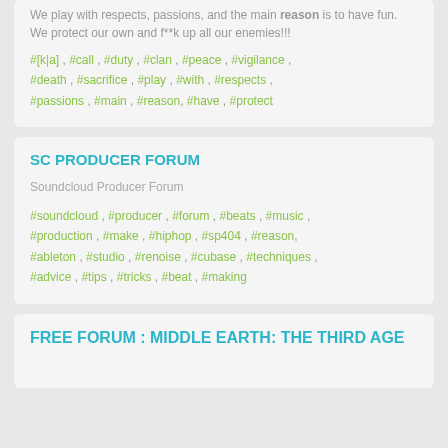We play with respects, passions, and the main reason is to have fun. We protect our own and f**k up all our enemies!!!
#[k|a] , #call , #duty , #clan , #peace , #vigilance , #death , #sacrifice , #play , #with , #respects , #passions , #main , #reason, #have , #protect
SC PRODUCER FORUM
Soundcloud Producer Forum
#soundcloud , #producer , #forum , #beats , #music , #production , #make , #hiphop , #sp404 , #reason, #ableton , #studio , #renoise , #cubase , #techniques , #advice , #tips , #tricks , #beat , #making
FREE FORUM : MIDDLE EARTH: THE THIRD AGE